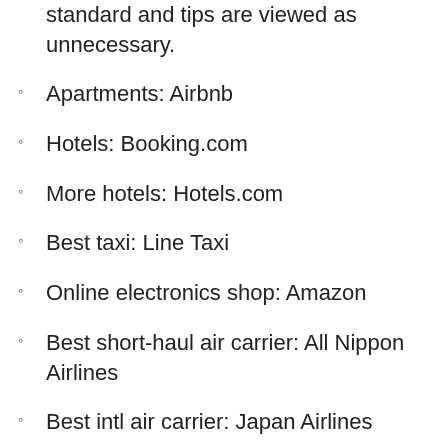standard and tips are viewed as unnecessary.
Apartments: Airbnb
Hotels: Booking.com
More hotels: Hotels.com
Best taxi: Line Taxi
Online electronics shop: Amazon
Best short-haul air carrier: All Nippon Airlines
Best intl air carrier: Japan Airlines
Monthly costs for expat: $1700